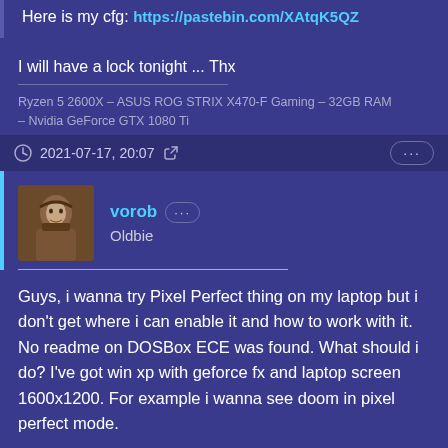Here is my cfg: https://pastebin.com/XAtqK5QZ
I will have a lock tonight ... Thx
Ryzen 5 2600X – ASUS ROG STRIX X470-F Gaming – 32GB RAM – Nvidia GeForce GTX 1080 Ti
2021-07-17, 20:07
vorob
Oldbie
Guys, i wanna try Pixel Perfect thing on my laptop but i don't get where i can enable it and how to work with it. No readme on DOSBox ECE was found. What should i do? I've got win xp with geforce fx and laptop screen 1600x1200. For example i wanna see doom in pixel perfect mode.
I was expecting some line in config like pixelpefcect = true /